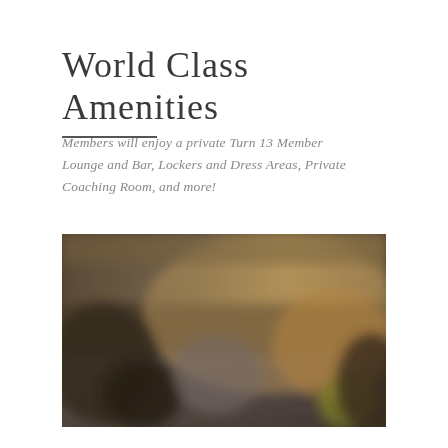World Class Amenities
Members will enjoy a private Turn 13 Member Lounge and Bar, Lockers and Dress Areas, Private Coaching Room, and more!
[Figure (photo): Blurred interior photo of a lounge or bar area with warm ambient lighting, people visible in the background]